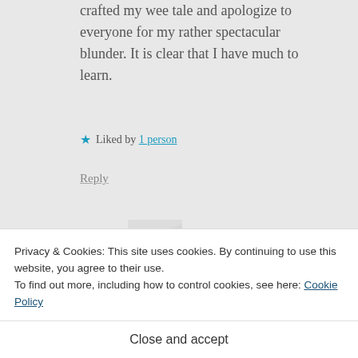crafted my wee tale and apologize to everyone for my rather spectacular blunder. It is clear that I have much to learn.
★ Liked by 1 person
Reply
J Hardy Carroll says:
Privacy & Cookies: This site uses cookies. By continuing to use this website, you agree to their use.
To find out more, including how to control cookies, see here: Cookie Policy
Close and accept